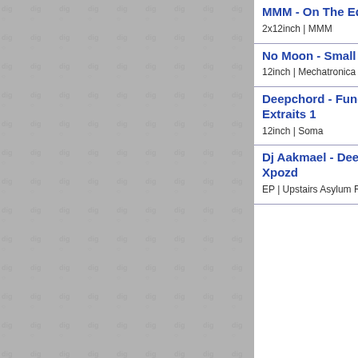MMM - On The Edge
2x12inch | MMM
No Moon - Small Moves
12inch | Mechatronica Music
Deepchord - Functional Extraits 1
12inch | Soma
Dj Aakmael - Deepness Xpozd
EP | Upstairs Asylum Recordings